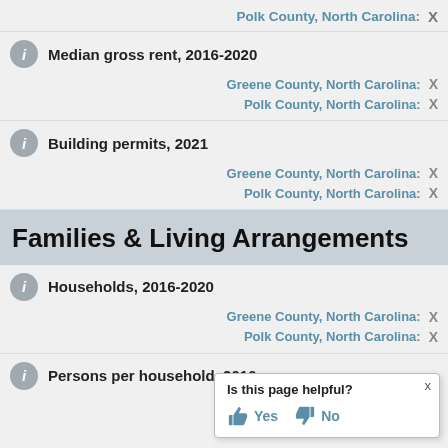Polk County, North Carolina: X
Median gross rent, 2016-2020
Greene County, North Carolina: X
Polk County, North Carolina: X
Building permits, 2021
Greene County, North Carolina: X
Polk County, North Carolina: X
Families & Living Arrangements
Households, 2016-2020
Greene County, North Carolina: X
Polk County, North Carolina: X
Persons per household, 2016-
Is this page helpful? Yes No X